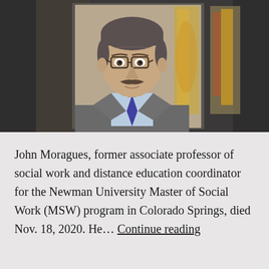[Figure (photo): Portrait photo of John Moragues, a middle-aged man with a mustache, glasses, wearing a grey blazer, light blue shirt, and patterned blue tie. Background is dark/wood-toned with a colorful artwork partially visible on the right.]
John Moragues, former associate professor of social work and distance education coordinator for the Newman University Master of Social Work (MSW) program in Colorado Springs, died Nov. 18, 2020. He… Continue reading